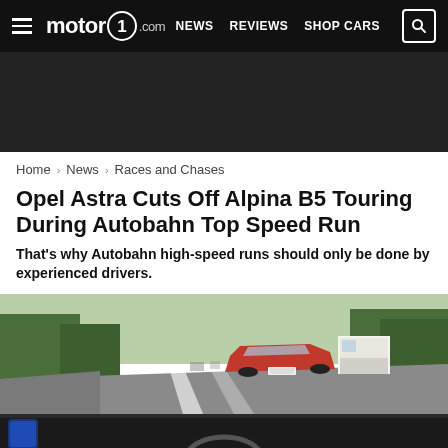motor1.com — NEWS  REVIEWS  SHOP CARS
Home > News > Races and Chases
Opel Astra Cuts Off Alpina B5 Touring During Autobahn Top Speed Run
That's why Autobahn high-speed runs should only be done by experienced drivers.
[Figure (photo): Dashcam view from inside a car on the Autobahn showing a red Opel Astra convertible cutting in front, with a truck and green-lined road visible ahead, shot from driver's perspective with dashboard visible at bottom]